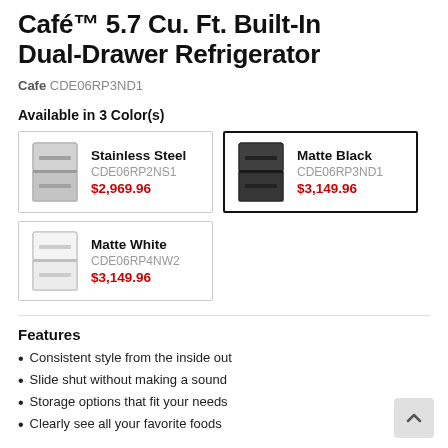Café™ 5.7 Cu. Ft. Built-In Dual-Drawer Refrigerator
Cafe CDE06RP3ND1
Available in 3 Color(s)
Stainless Steel | CDE06RP2NS1 | $2,969.96
Matte Black | CDE06RP3ND1 | $3,149.96
Matte White | CDE06RP4NW2 | $3,149.96
Features
Consistent style from the inside out
Slide shut without making a sound
Storage options that fit your needs
Clearly see all your favorite foods